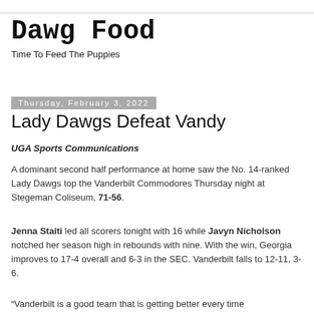Dawg Food
Time To Feed The Puppies
Thursday, February 3, 2022
Lady Dawgs Defeat Vandy
UGA Sports Communications
A dominant second half performance at home saw the No. 14-ranked Lady Dawgs top the Vanderbilt Commodores Thursday night at Stegeman Coliseum, 71-56.
Jenna Staiti led all scorers tonight with 16 while Javyn Nicholson notched her season high in rebounds with nine. With the win, Georgia improves to 17-4 overall and 6-3 in the SEC. Vanderbilt falls to 12-11, 3-6.
“Vanderbilt is a good team that is getting better every time